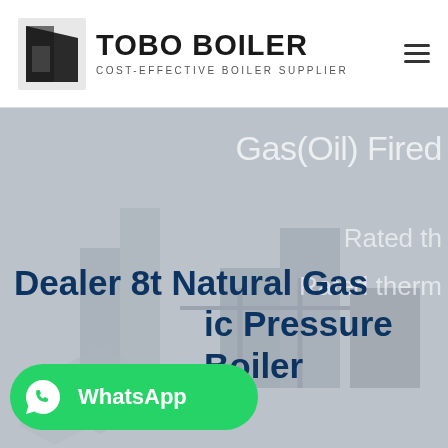TOBO BOILER | COST-EFFECTIVE BOILER SUPPLIER
[Figure (screenshot): Tobo Boiler website screenshot showing logo, navigation, hero section with boiler image, text 'Gas(Oil) Fired', 'Rated th...', 'Rated therm...', main title 'Dealer 8t Natural Gas ic Pressure Boiler', and WhatsApp button]
Dealer 8t Natural Gas ic Pressure Boiler